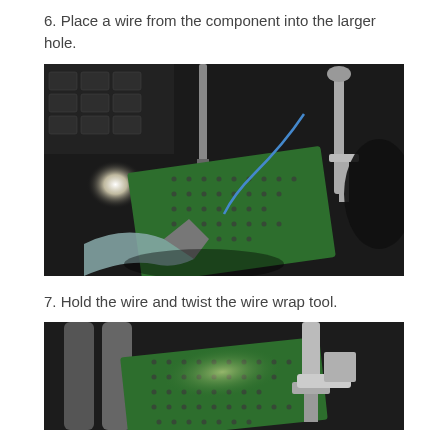6. Place a wire from the component into the larger hole.
[Figure (photo): Photo showing a green perforated circuit board held by a helping-hands clamp tool, with pliers visible in the foreground, a soldering iron or pick above the board, and a blue wire being placed through a hole. Dark workbench background with a keyboard visible.]
7. Hold the wire and twist the wire wrap tool.
[Figure (photo): Partial photo showing a green perforated circuit board with a wire wrap tool (metal clamp/plier tool) positioned above it. Dark background with cylindrical objects visible.]